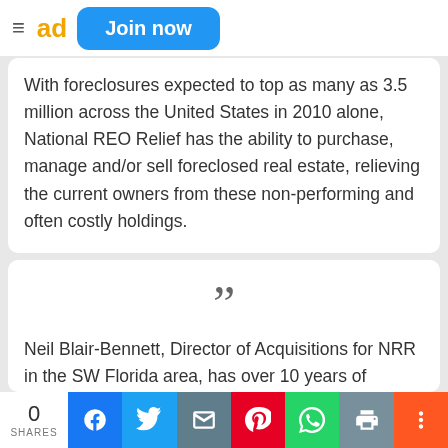Join now
With foreclosures expected to top as many as 3.5 million across the United States in 2010 alone, National REO Relief has the ability to purchase, manage and/or sell foreclosed real estate, relieving the current owners from these non-performing and often costly holdings.
Neil Blair-Bennett, Director of Acquisitions for NRR in the SW Florida area, has over 10 years of experience in Investment, Residential, and Commercial Real Estate combined.
0 SHARES | Share buttons: Facebook, Twitter, Email, Pinterest, WhatsApp, Print, More